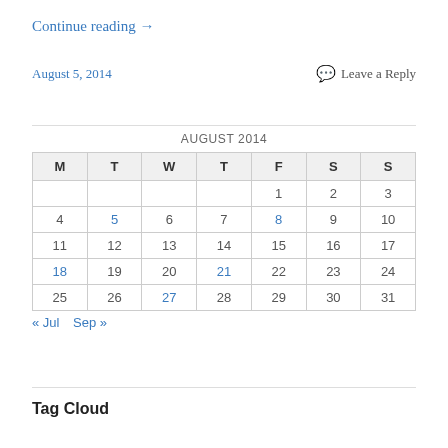Continue reading →
August 5, 2014
Leave a Reply
| M | T | W | T | F | S | S |
| --- | --- | --- | --- | --- | --- | --- |
|  |  |  |  | 1 | 2 | 3 |
| 4 | 5 | 6 | 7 | 8 | 9 | 10 |
| 11 | 12 | 13 | 14 | 15 | 16 | 17 |
| 18 | 19 | 20 | 21 | 22 | 23 | 24 |
| 25 | 26 | 27 | 28 | 29 | 30 | 31 |
« Jul  Sep »
Tag Cloud